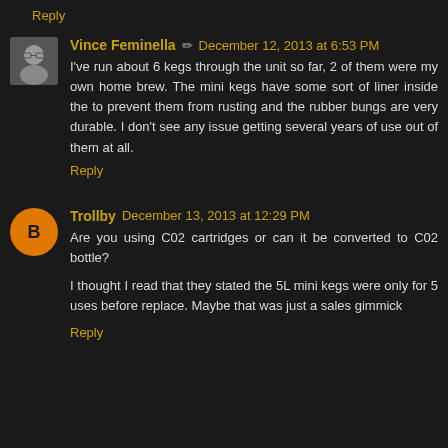Reply
Vince Feminella ✏ December 12, 2013 at 6:53 PM
I've run about 6 kegs through the unit so far, 2 of them were my own home brew. The mini kegs have some sort of liner inside the to prevent them from rusting and the rubber bungs are very durable. I don't see any issue getting several years of use out of them at all.
Reply
Trollby December 13, 2013 at 12:29 PM
Are you using C02 cartridges or can it be converted to C02 bottle?
I thought I read that they stated the 5L mini kegs were only for 5 uses before replace. Maybe that was just a sales gimmick
Reply